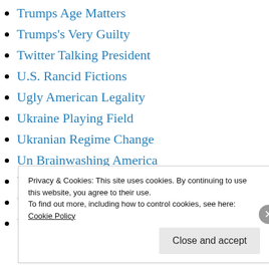Trumps Age Matters
Trumps's Very Guilty
Twitter Talking President
U.S. Rancid Fictions
Ugly American Legality
Ukraine Playing Field
Ukranian Regime Change
Un Brainwashing America
Uncategorized
Unfair American Elections
Unfreedom in America
Privacy & Cookies: This site uses cookies. By continuing to use this website, you agree to their use.
To find out more, including how to control cookies, see here:
Cookie Policy
Close and accept